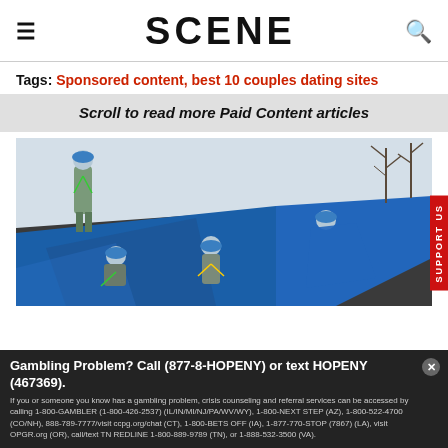SCENE
Tags: Sponsored content, best 10 couples dating sites
Scroll to read more Paid Content articles
[Figure (photo): Workers in hard hats and safety harnesses laying blue tarp on a roof]
Gambling Problem? Call (877-8-HOPENY) or text HOPENY (467369). If you or someone you know has a gambling problem, crisis counseling and referral services can be accessed by calling 1-800-GAMBLER (1-800-426-2537) (IL/IN/MI/NJ/PA/WV/WY), 1-800-NEXT STEP (AZ), 1-800-522-4700 (CO/NH), 888-789-7777/visit ccpg.org/chat (CT), 1-800-BETS OFF (IA), 1-877-770-STOP (7867) (LA), visit OPGR.org (OR), call/text TN REDLINE 1-800-889-9789 (TN), or 1-888-532-3500 (VA).